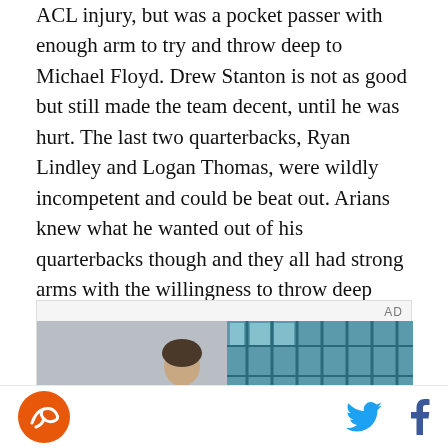ACL injury, but was a pocket passer with enough arm to try and throw deep to Michael Floyd. Drew Stanton is not as good but still made the team decent, until he was hurt. The last two quarterbacks, Ryan Lindley and Logan Thomas, were wildly incompetent and could be beat out. Arians knew what he wanted out of his quarterbacks though and they all had strong arms with the willingness to throw deep passes.
[Figure (photo): Advertisement video thumbnail showing a young man in a dark jacket standing in front of a building with large teal-framed windows/facade]
Social share icons: Twitter and Facebook. Site logo (circular orange with stylized letter).